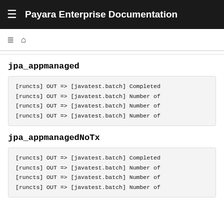Payara Enterprise Documentation
jpa_appmanaged
[runcts] OUT => [javatest.batch] Completed
[runcts] OUT => [javatest.batch] Number of
[runcts] OUT => [javatest.batch] Number of
[runcts] OUT => [javatest.batch] Number of
jpa_appmanagedNoTx
[runcts] OUT => [javatest.batch] Completed
[runcts] OUT => [javatest.batch] Number of
[runcts] OUT => [javatest.batch] Number of
[runcts] OUT => [javatest.batch] Number of